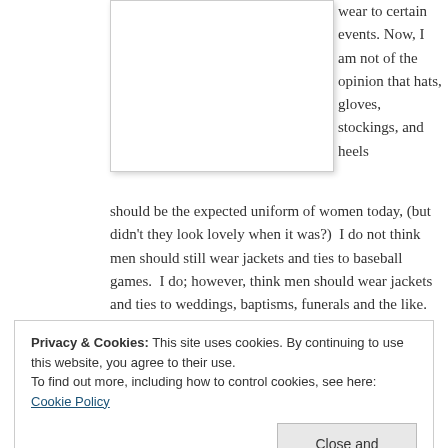[Figure (photo): White rectangular image placeholder with light border and shadow]
wear to certain events. Now, I am not of the opinion that hats, gloves, stockings, and heels should be the expected uniform of women today, (but didn't they look lovely when it was?)  I do not think men should still wear jackets and ties to baseball games.  I do; however, think men should wear jackets and ties to weddings, baptisms, funerals and the like.
Privacy & Cookies: This site uses cookies. By continuing to use this website, you agree to their use.
To find out more, including how to control cookies, see here: Cookie Policy
Mass is offered.  We'll get to that in a minute.